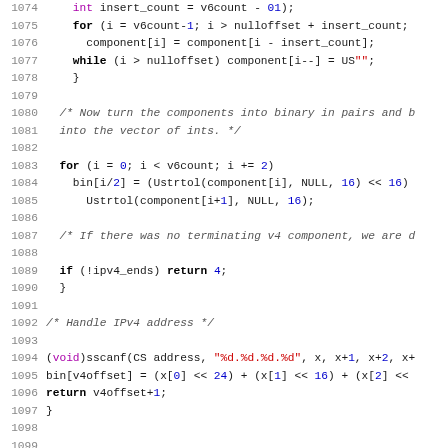[Figure (screenshot): Source code listing (C language) showing lines 1074-1106, implementing IPv6/IPv4 address parsing and binary conversion functions. Line numbers on left, code with syntax highlighting (keywords bold, numbers blue, strings red, comments italic).]